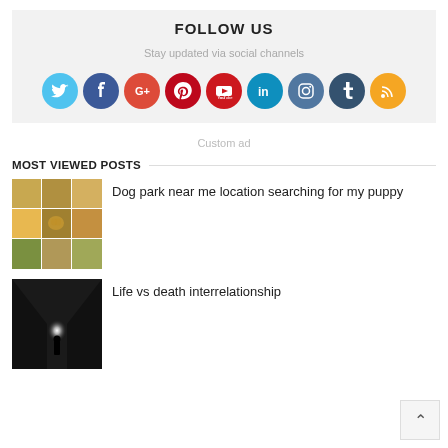FOLLOW US
Stay updated via social channels
[Figure (infographic): Row of 9 social media icon circles: Twitter, Facebook, Google+, Pinterest, YouTube, LinkedIn, Instagram, Tumblr, RSS]
Custom ad
MOST VIEWED POSTS
[Figure (photo): Grid collage of 9 corgi dog photos]
Dog park near me location searching for my puppy
[Figure (photo): Dark tunnel with light at the end and silhouette of a person]
Life vs death interrelationship